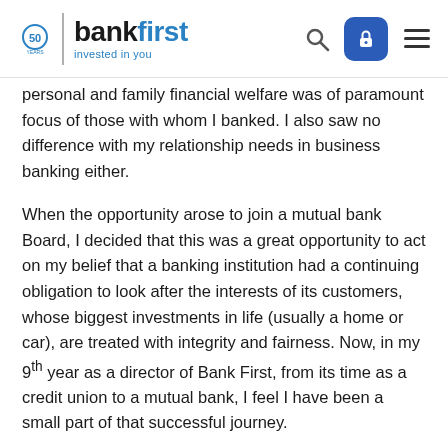Bank First — 50 Years — Invested in you
personal and family financial welfare was of paramount focus of those with whom I banked. I also saw no difference with my relationship needs in business banking either.
When the opportunity arose to join a mutual bank Board, I decided that this was a great opportunity to act on my belief that a banking institution had a continuing obligation to look after the interests of its customers, whose biggest investments in life (usually a home or car), are treated with integrity and fairness. Now, in my 9th year as a director of Bank First, from its time as a credit union to a mutual bank, I feel I have been a small part of that successful journey.
As life is not all about work, I also sit on the board of several